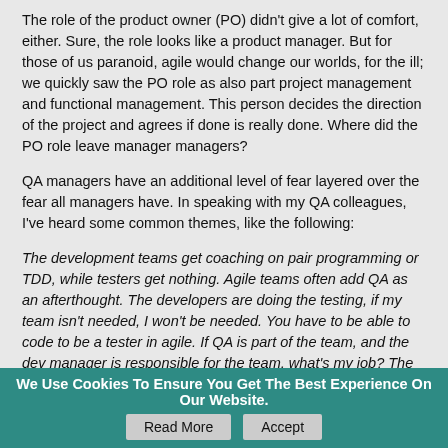The role of the product owner (PO) didn't give a lot of comfort, either. Sure, the role looks like a product manager. But for those of us paranoid, agile would change our worlds, for the ill; we quickly saw the PO role as also part project management and functional management. This person decides the direction of the project and agrees if done is really done. Where did the PO role leave manager managers?
QA managers have an additional level of fear layered over the fear all managers have. In speaking with my QA colleagues, I've heard some common themes, like the following:
The development teams get coaching on pair programming or TDD, while testers get nothing. Agile teams often add QA as an afterthought. The developers are doing the testing, if my team isn't needed, I won't be needed. You have to be able to code to be a tester in agile. If QA is part of the team, and the dev manager is responsible for the team, what's my job? The team is setting the schedule, the team's mostly coders, we won't have enough time to do testing, QA will be blamed.
With all these fears and worries piling up, is it any wonder managers are resistant to being pushed into agile? In all the time I've worked in agile, I personally can think of only a handful of instances in which a manager pushed into agile didn't approach it with all the trepidation of a rabbit entering the lion's den. And in a reality in which first impressions are king, a bad first experience
We Use Cookies To Ensure You Get The Best Experience On Our Website.  Read More  Accept